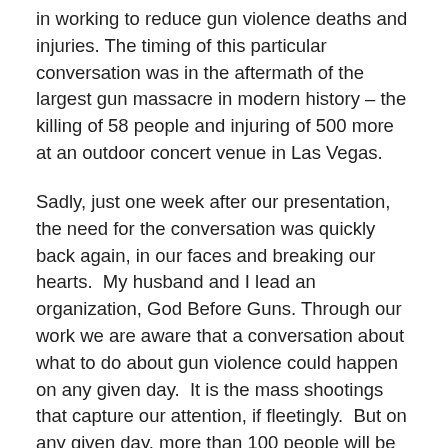in working to reduce gun violence deaths and injuries. The timing of this particular conversation was in the aftermath of the largest gun massacre in modern history – the killing of 58 people and injuring of 500 more at an outdoor concert venue in Las Vegas.
Sadly, just one week after our presentation, the need for the conversation was quickly back again, in our faces and breaking our hearts.  My husband and I lead an organization, God Before Guns. Through our work we are aware that a conversation about what to do about gun violence could happen on any given day.  It is the mass shootings that capture our attention, if fleetingly.  But on any given day, more than 100 people will be shot and killed. The numbers of gun deaths are climbing.  Twice that number will be injured, many with lifelong disabilities.